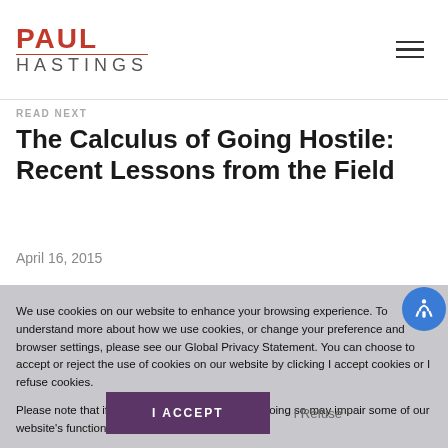PAUL HASTINGS
READ NEXT
The Calculus of Going Hostile: Recent Lessons from the Field
April 16, 2015
We use cookies on our website to enhance your browsing experience. To understand more about how we use cookies, or change your preference and browser settings, please see our Global Privacy Statement. You can choose to accept or reject the use of cookies on our website by clicking I accept cookies or I refuse cookies.

Please note that if you choose to reject cookies, doing so may impair some of our website's functionality.